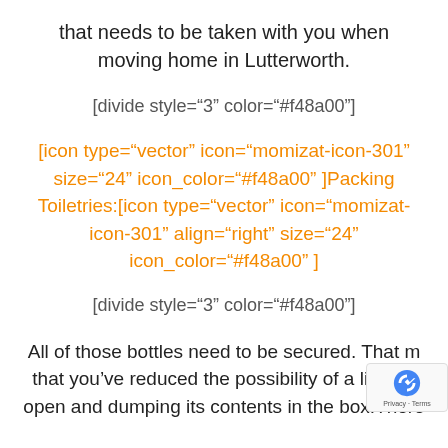that needs to be taken with you when moving home in Lutterworth.
[divide style="3" color="#f48a00"]
[icon type="vector" icon="momizat-icon-301" size="24" icon_color="#f48a00" ]Packing Toiletries:[icon type="vector" icon="momizat-icon-301" align="right" size="24" icon_color="#f48a00" ]
[divide style="3" color="#f48a00"]
All of those bottles need to be secured. That m that you've reduced the possibility of a lid pop open and dumping its contents in the box.There